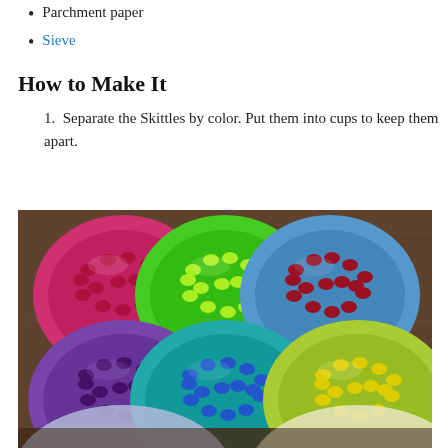Parchment paper
Sieve
How to Make It
Separate the Skittles by color. Put them into cups to keep them apart.
[Figure (photo): Six colored bowls viewed from above arranged in a 3x2 grid on a wooden surface, each containing Skittles candies sorted by color: pink/red bowl (top left), green bowl with lime green Skittles (top center), red/dark bowl (top right), purple bowl with dark purple Skittles (bottom left), teal/blue bowl with blue Skittles (bottom center), yellow-green bowl with yellow Skittles (bottom right). Bottom portion shows two bowls partially visible with lighter candy colors.]